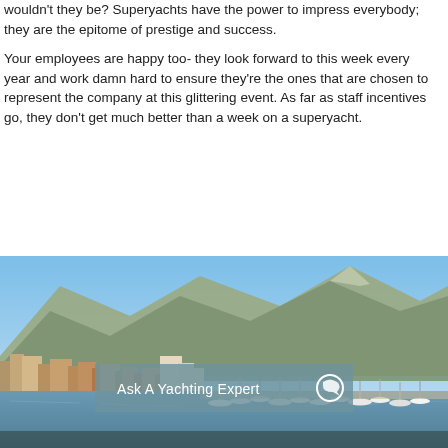wouldn't they be? Superyachts have the power to impress everybody; they are the epitome of prestige and success.
Your employees are happy too- they look forward to this week every year and work damn hard to ensure they're the ones that are chosen to represent the company at this glittering event. As far as staff incentives go, they don't get much better than a week on a superyacht.
[Figure (photo): Coastal city harbour with mountains in the background and yachts moored, featuring an 'Ask A Yachting Expert' overlay bar.]